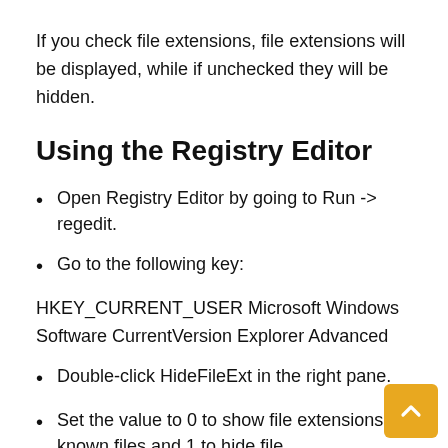If you check file extensions, file extensions will be displayed, while if unchecked they will be hidden.
Using the Registry Editor
Open Registry Editor by going to Run -> regedit.
Go to the following key:
HKEY_CURRENT_USER Microsoft Windows Software CurrentVersion Explorer Advanced
Double-click HideFileExt in the right pane.
Set the value to 0 to show file extensions for known files and 1 to hide file